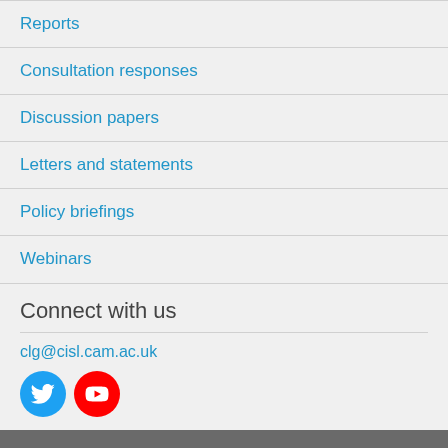Reports
Consultation responses
Discussion papers
Letters and statements
Policy briefings
Webinars
Connect with us
clg@cisl.cam.ac.uk
[Figure (illustration): Twitter bird icon (blue circle) and YouTube play button icon (red circle) side by side]